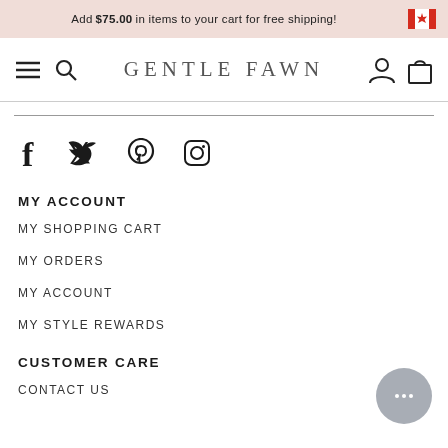Add $75.00 in items to your cart for free shipping!
GENTLE FAWN
[Figure (illustration): Social media icons: Facebook, Twitter, Pinterest, Instagram]
MY ACCOUNT
MY SHOPPING CART
MY ORDERS
MY ACCOUNT
MY STYLE REWARDS
CUSTOMER CARE
CONTACT US